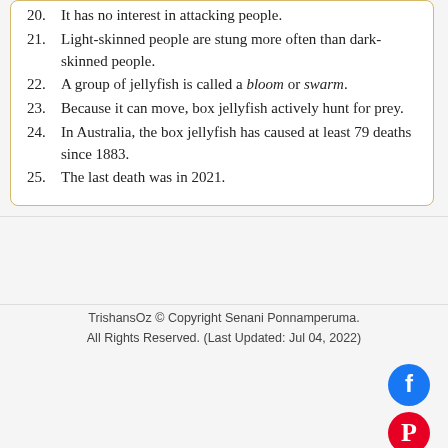20. It has no interest in attacking people.
21. Light-skinned people are stung more often than dark-skinned people.
22. A group of jellyfish is called a bloom or swarm.
23. Because it can move, box jellyfish actively hunt for prey.
24. In Australia, the box jellyfish has caused at least 79 deaths since 1883.
25. The last death was in 2021.
TrishansOz © Copyright Senani Ponnamperuma. All Rights Reserved. (Last Updated: Jul 04, 2022)